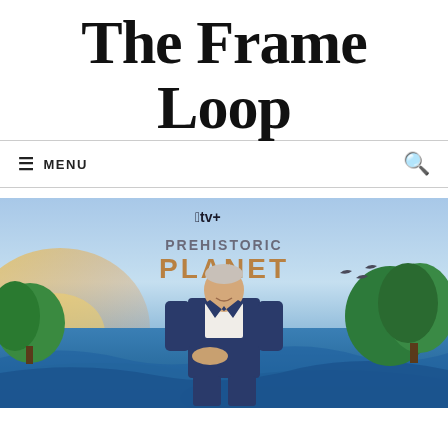The Frame Loop
MENU | Search
[Figure (photo): A man in a dark suit stands smiling in front of an Apple TV+ Prehistoric Planet promotional backdrop with dinosaur and ocean imagery.]